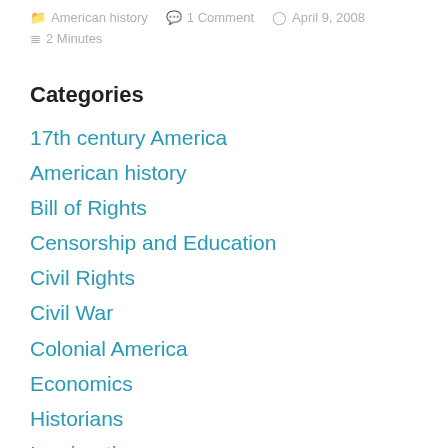American history  1 Comment  April 9, 2008  2 Minutes
Categories
17th century America
American history
Bill of Rights
Censorship and Education
Civil Rights
Civil War
Colonial America
Economics
Historians
Immigration